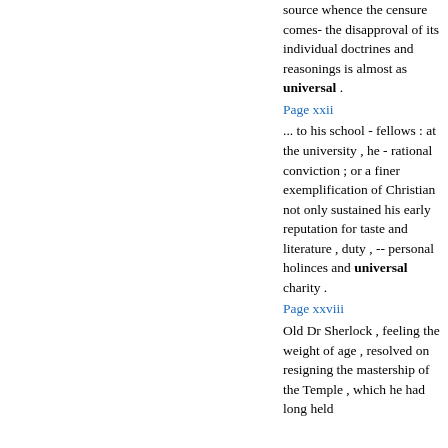source whence the censure comes- the disapproval of its individual doctrines and reasonings is almost as universal .
Page xxii
... to his school - fellows : at the university , he - rational conviction ; or a finer exemplification of Christian not only sustained his early reputation for taste and literature , duty , -- personal holinces and universal charity .
Page xxviii
Old Dr Sherlock , feeling the weight of age , resolved on resigning the mastership of the Temple , which he had long held